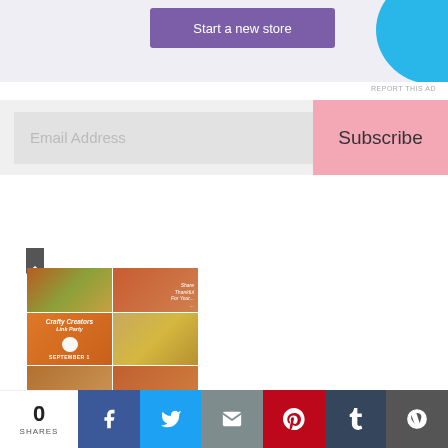[Figure (screenshot): Purple 'Start a new store' button on light purple background with cyan cloud shape on right]
REPORT THIS AD
[Figure (screenshot): Email Address input field with pink Subscribe button]
[Figure (photo): Bookmark icon (dark gray)]
[Figure (photo): Fall/autumn photo collage with decorations, wreath, food, and crafting party invitation]
[Figure (screenshot): Social share bar with 0 SHARES, Facebook, Twitter, Email, Pinterest, Tumblr, WordPress buttons]